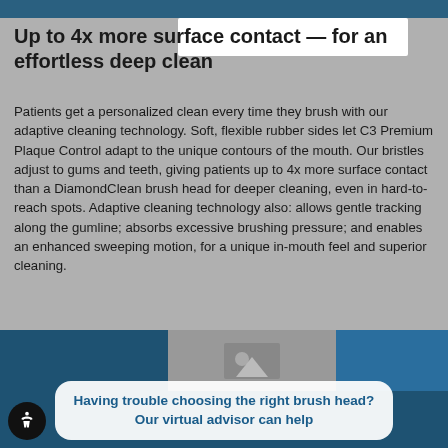Up to 4x more surface contact — for an effortless deep clean
Patients get a personalized clean every time they brush with our adaptive cleaning technology. Soft, flexible rubber sides let C3 Premium Plaque Control adapt to the unique contours of the mouth. Our bristles adjust to gums and teeth, giving patients up to 4x more surface contact than a DiamondClean brush head for deeper cleaning, even in hard-to-reach spots. Adaptive cleaning technology also: allows gentle tracking along the gumline; absorbs excessive brushing pressure; and enables an enhanced sweeping motion, for a unique in-mouth feel and superior cleaning.
[Figure (photo): Bottom section showing product imagery with dark blue background panels and a central image area]
Having trouble choosing the right brush head? Our virtual advisor can help